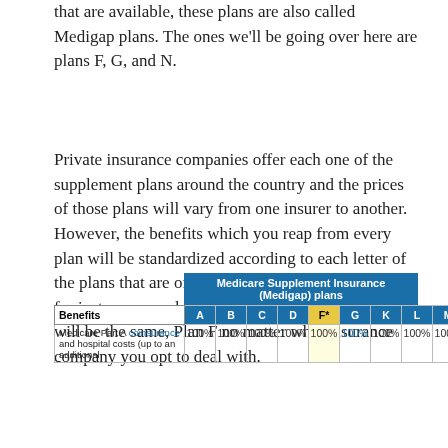that are available, these plans are also called Medigap plans. The ones we'll be going over here are plans F, G, and N.
Private insurance companies offer each one of the supplement plans around the country and the prices of those plans will vary from one insurer to another. However, the benefits which you reap from every plan will be standardized according to each letter of the plans that are offered. What this ensures that say for instance you choose the coverage the plan offers will be the same, Plan F no matter what insurance company you opt to deal with.
| Benefits | A | B | C | D | F* | G | K | L | M | N |
| --- | --- | --- | --- | --- | --- | --- | --- | --- | --- | --- |
| Medicare Part A coinsurance and hospital costs (up to an additional | 100% | 100% | 100% | 100% | 100% | 100% | 100% | 100% | 100% | 100% |